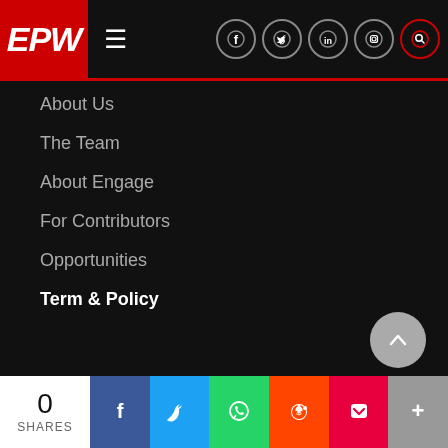EPW
About Us
The Team
About Engage
For Contributors
Opportunities
Term & Policy
Terms and Conditions
Copyright
Privacy Policy
Style Sheet
0 SHARES